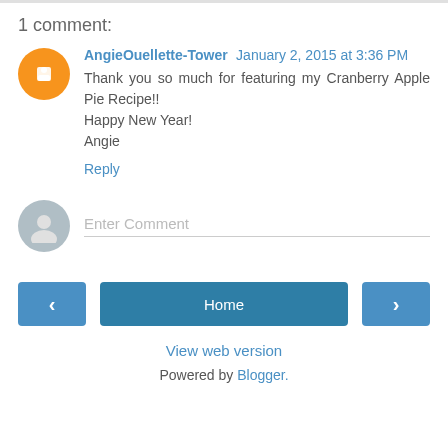1 comment:
AngieOuellette-Tower January 2, 2015 at 3:36 PM
Thank you so much for featuring my Cranberry Apple Pie Recipe!!
Happy New Year!
Angie
Reply
Enter Comment
Home
View web version
Powered by Blogger.